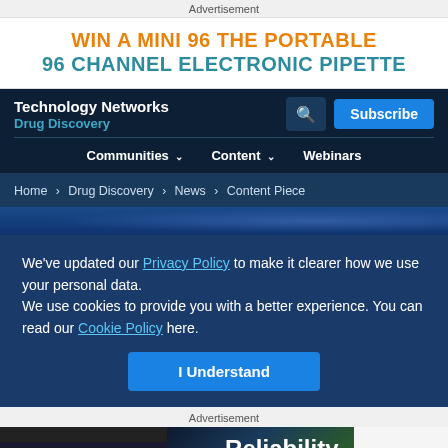Advertisement
[Figure (infographic): Advertisement banner: WIN A MINI 96 THE PORTABLE 96 CHANNEL ELECTRONIC PIPETTE in orange and teal text on white background]
Technology Networks Drug Discovery — Communities | Content | Webinars — Subscribe
Home > Drug Discovery > News > Content Piece
We've updated our Privacy Policy to make it clearer how we use your personal data.
We use cookies to provide you with a better experience. You can read our Cookie Policy here.
I Understand
Advertisement
[Figure (infographic): Horizon/Dharmacon advertisement: Infinite Reliability More — Dharmacon Reagents, Custom synthesis, RNAi and CRISPR solutions]